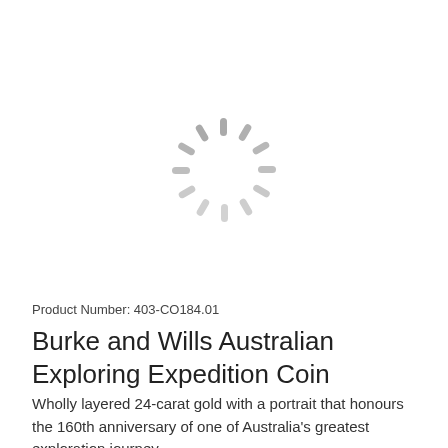[Figure (other): Loading spinner icon — a circular arrangement of gray radial lines (like a sunburst/throbber), indicating image is loading]
Product Number: 403-CO184.01
Burke and Wills Australian Exploring Expedition Coin
Wholly layered 24-carat gold with a portrait that honours the 160th anniversary of one of Australia's greatest exploration journey.